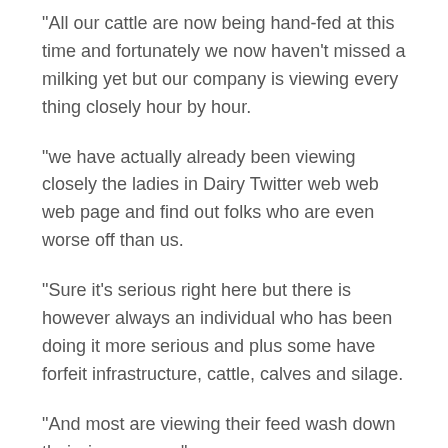“All our cattle are now being hand-fed at this time and fortunately we now haven’t missed a milking yet but our company is viewing every thing closely hour by hour.
“we have actually already been viewing closely the ladies in Dairy Twitter web web web page and find out folks who are even worse off than us.
“Sure it’s serious right here but there is however always an individual who has been doing it more serious and plus some have forfeit infrastructure, cattle, calves and silage.
“And most are viewing their feed wash down their river means.”
Laurie Argue from Kempsey Stock and Land spared a calf from floodwater while moving cattle at Clybucca north of Kempsey. Picture: Samantha Townsend
Kempsey Stock and Land representative Laurie Argue stated beef